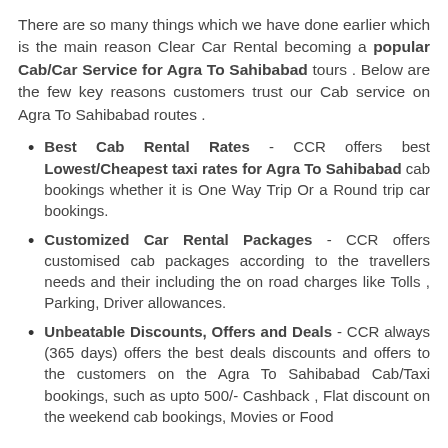There are so many things which we have done earlier which is the main reason Clear Car Rental becoming a popular Cab/Car Service for Agra To Sahibabad tours . Below are the few key reasons customers trust our Cab service on Agra To Sahibabad routes .
Best Cab Rental Rates - CCR offers best Lowest/Cheapest taxi rates for Agra To Sahibabad cab bookings whether it is One Way Trip Or a Round trip car bookings.
Customized Car Rental Packages - CCR offers customised cab packages according to the travellers needs and their including the on road charges like Tolls , Parking, Driver allowances.
Unbeatable Discounts, Offers and Deals - CCR always (365 days) offers the best deals discounts and offers to the customers on the Agra To Sahibabad Cab/Taxi bookings, such as upto 500/- Cashback , Flat discount on the weekend cab bookings, Movies or Food